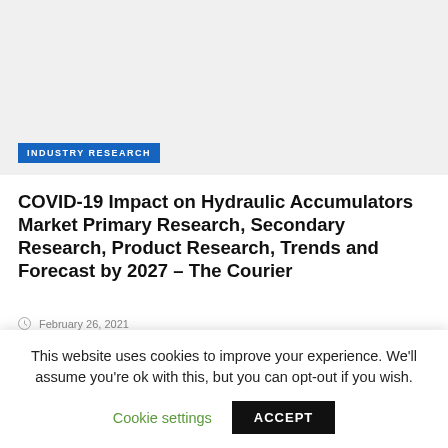[Figure (photo): Light gray placeholder image area representing an article banner image]
INDUSTRY RESEARCH
COVID-19 Impact on Hydraulic Accumulators Market Primary Research, Secondary Research, Product Research, Trends and Forecast by 2027 – The Courier
February 26, 2021
This website uses cookies to improve your experience. We'll assume you're ok with this, but you can opt-out if you wish.
Cookie settings   ACCEPT